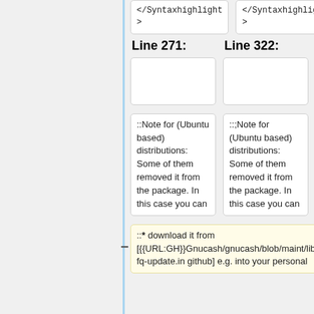</Syntaxhighlight
>
</Syntaxhighlight
>
Line 271:
Line 322:
::Note for (Ubuntu based) distributions: Some of them removed it from the package. In this case you can
:;Note for (Ubuntu based) distributions: Some of them removed it from the package. In this case you can
::* download it from [{{URL:GH}}Gnucash/gnucash/blob/maint/libgnucash/quotes/gnc-fq-update.in github] e.g. into your personal
::# download it from [{{URL:GH}}Gnucash/gnucash/blob/maint/libgnucash/quotes/gnc-fq-update.in github] e.g. into your personal